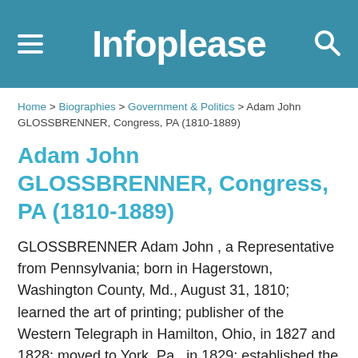Infoplease
Home > Biographies > Government & Politics > Adam John GLOSSBRENNER, Congress, PA (1810-1889)
Adam John GLOSSBRENNER, Congress, PA (1810-1889)
GLOSSBRENNER Adam John , a Representative from Pennsylvania; born in Hagerstown, Washington County, Md., August 31, 1810; learned the art of printing; publisher of the Western Telegraph in Hamilton, Ohio, in 1827 and 1828; moved to York, Pa., in 1829; established the York County Farmer in 1831; became a partner in the York Gazette in 1835, and continued his connection with that paper until 1860; clerk in the State house of representatives in 1836; clerk in the House of Representatives during the Twenty-eighth and Twenty-